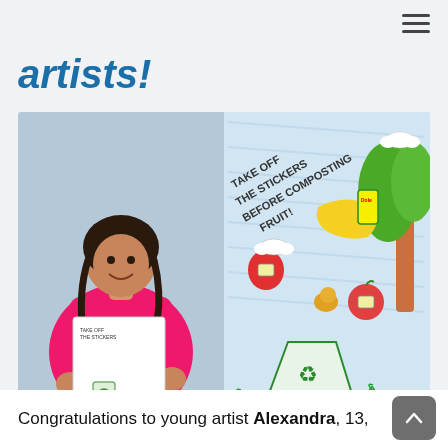artists!
artists!
[Figure (photo): Left: Young girl (approximately 13 years old) with dark braided hair wearing a bright pink hoodie, holding up a drawing. Right: Close-up of the drawing showing an illustrated compost-themed artwork with text 'TAKE OFF THE STICKERS BEFORE COMPOSTING FRUIT!', fruit with Dole stickers, a green tree, a compost bin labeled 'COMPOST', and a recycling symbol.]
Congratulations to young artist Alexandra, 13,